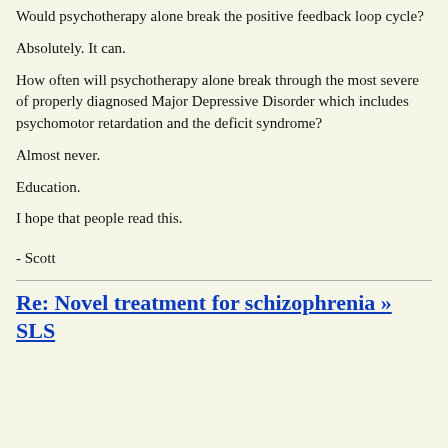Would psychotherapy alone break the positive feedback loop cycle?
Absolutely. It can.
How often will psychotherapy alone break through the most severe of properly diagnosed Major Depressive Disorder which includes psychomotor retardation and the deficit syndrome?
Almost never.
Education.
I hope that people read this.
- Scott
Re: Novel treatment for schizophrenia » SLS